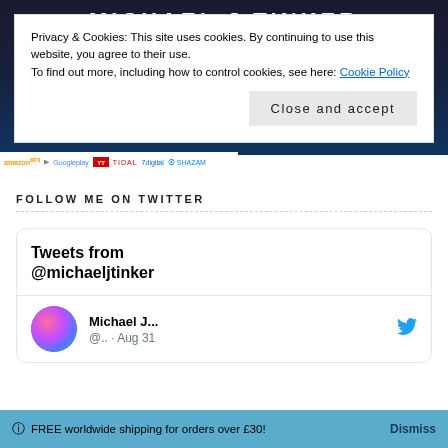[Figure (screenshot): Dark blue/purple top banner with text MICHAEL J TINKER in white uppercase letters]
Privacy & Cookies: This site uses cookies. By continuing to use this website, you agree to their use.
To find out more, including how to control cookies, see here: Cookie Policy
Close and accept
[Figure (screenshot): Streaming service logos bar: amazon, Google Play, TIDAL, 7digital, SHAZAM]
FOLLOW ME ON TWITTER
Tweets from @michaeljtinker
Michael J... @.. · Aug 31
FREE worldwide shipping for orders over £30! Dismiss